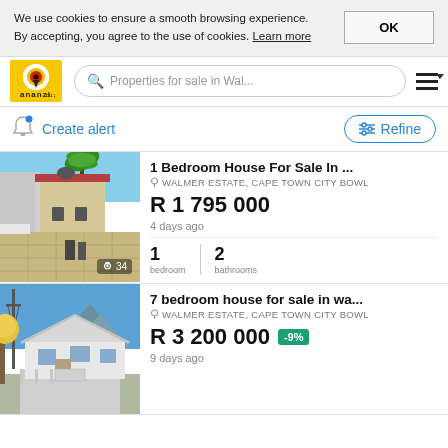We use cookies to ensure a smooth browsing experience. By accepting, you agree to the use of cookies. Learn more
[Figure (logo): Ananzi.co.za logo with yellow background and red/black target icon]
Properties for sale in Wal...
Create alert
Refine
1 Bedroom House For Sale In ...
WALMER ESTATE, CAPE TOWN CITY BOWL
R 1 795 000
4 days ago
1 bedroom  2 bathrooms
7 bedroom house for sale in wa...
WALMER ESTATE, CAPE TOWN CITY BOWL
R 3 200 000
-9%
9 days ago